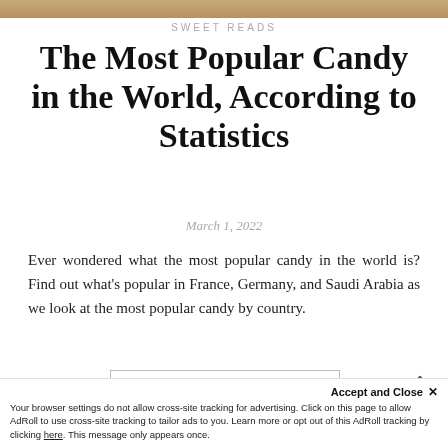[Figure (photo): Top image strip showing partial food/candy photograph]
SWEET READS
The Most Popular Candy in the World, According to Statistics
March 1, 2022
Ever wondered what the most popular candy in the world is? Find out what's popular in France, Germany, and Saudi Arabia as we look at the most popular candy by country.
READ MORE
Accept and Close ×
Your browser settings do not allow cross-site tracking for advertising. Click on this page to allow AdRoll to use cross-site tracking to tailor ads to you. Learn more or opt out of this AdRoll tracking by clicking here. This message only appears once.